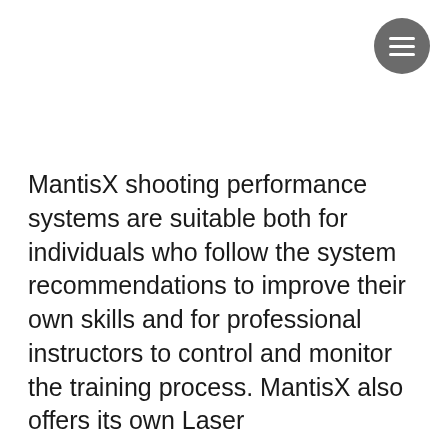[Figure (other): Hamburger menu button icon — gray circle with three white horizontal lines, positioned in top-right corner]
MantisX shooting performance systems are suitable both for individuals who follow the system recommendations to improve their own skills and for professional instructors to control and monitor the training process. MantisX also offers its own Laser